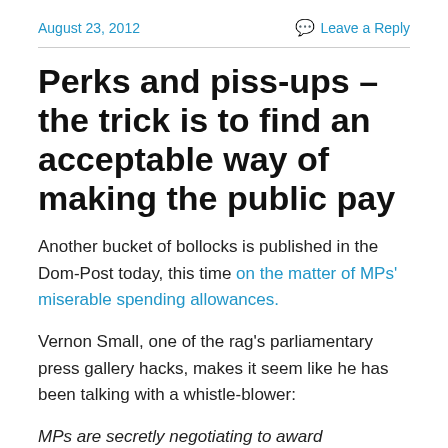August 23, 2012    Leave a Reply
Perks and piss-ups – the trick is to find an acceptable way of making the public pay
Another bucket of bollocks is published in the Dom-Post today, this time on the matter of MPs' miserable spending allowances.
Vernon Small, one of the rag's parliamentary press gallery hacks, makes it seem like he has been talking with a whistle-blower:
MPs are secretly negotiating to award themselves more generous perks.